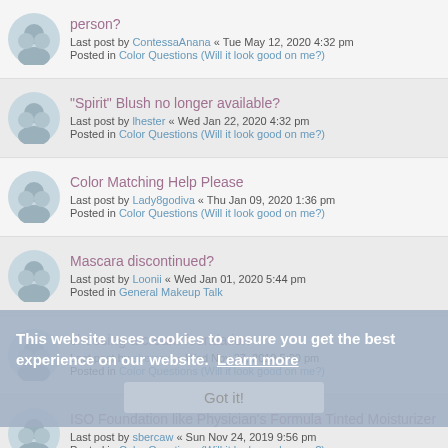person? Last post by ContessaAnana « Tue May 12, 2020 4:32 pm Posted in Color Questions (Will it look good on me?)
"Spirit" Blush no longer available? Last post by lhester « Wed Jan 22, 2020 4:32 pm Posted in Color Questions (Will it look good on me?)
Color Matching Help Please Last post by Lady8godiva « Thu Jan 09, 2020 1:36 pm Posted in Color Questions (Will it look good on me?)
Mascara discontinued? Last post by Loonii « Wed Jan 01, 2020 5:44 pm Posted in General Makeup Talk
choosing a cream foundation Last post by sbercaw « Wed Nov 27, 2019 5:00 pm Posted in Color Questions (Will it look good on me?)
ISO Foundation like Physician's Formula Tinted Moisturizer Last post by sbercaw « Sun Nov 24, 2019 9:56 pm Posted in Color Questions (Will it look good on me?)
Replacement for Milan Blush Last post by Xarata « Thu Nov 21, 2019 1:55 pm Posted in Color Questions (Will it look good on me?)
This website uses cookies to ensure you get the best experience on our website. Learn more Got it!